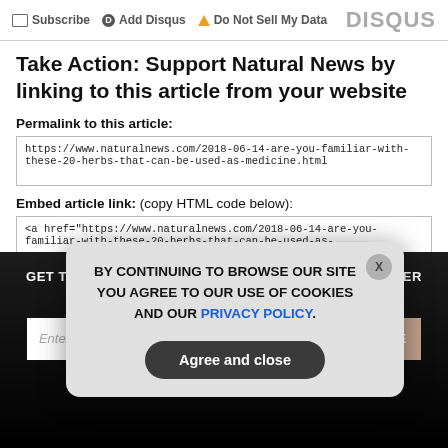Subscribe  Add Disqus  Do Not Sell My Data  DISQUS
Take Action: Support Natural News by linking to this article from your website
Permalink to this article:
https://www.naturalnews.com/2018-06-14-are-you-familiar-with-these-20-herbs-that-can-be-used-as-medicine.html
Embed article link: (copy HTML code below):
<a href="https://www.naturalnews.com/2018-06-14-are-you-familiar-with-these-20-herbs-that-can-be-used-as-
GET THE WORLD'S BEST NATURAL HEALTH NEWSLETTER DELIVERED STRAIGHT TO YOUR INBOX
Enter Your Email Address
SUBSCRIBE
BY CONTINUING TO BROWSE OUR SITE YOU AGREE TO OUR USE OF COOKIES AND OUR PRIVACY POLICY.
Agree and close